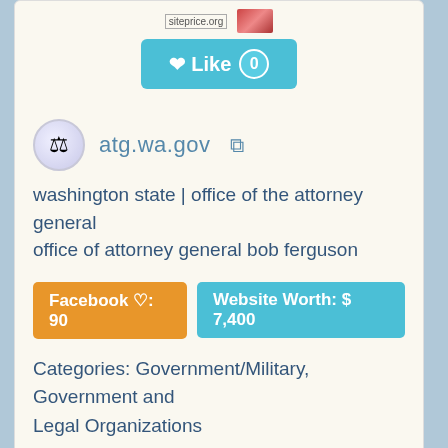[Figure (screenshot): Like button with count 0 in teal/cyan color]
atg.wa.gov
washington state | office of the attorney general office of attorney general bob ferguson
Facebook ♡: 90   Website Worth: $ 7,400
Categories: Government/Military, Government and Legal Organizations
Is it similar?  Yes 0  No  Scroll Top